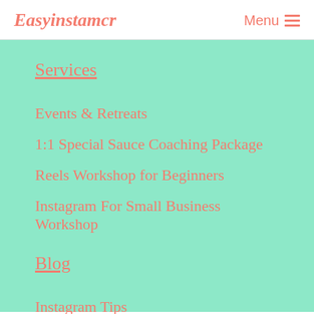Easyinstamcr | Menu
Services
Events & Retreats
1:1 Special Sauce Coaching Package
Reels Workshop for Beginners
Instagram For Small Business Workshop
Blog
Instagram Tips